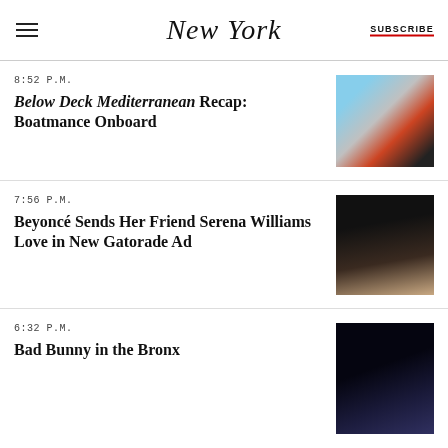New York | SUBSCRIBE
8:52 P.M.
Below Deck Mediterranean Recap: Boatmance Onboard
[Figure (photo): Woman in red jacket on a boat]
7:56 P.M.
Beyoncé Sends Her Friend Serena Williams Love in New Gatorade Ad
[Figure (photo): Beyoncé portrait with dark background]
6:32 P.M.
Bad Bunny in the Bronx
[Figure (photo): Performer on stage in white outfit at night concert]